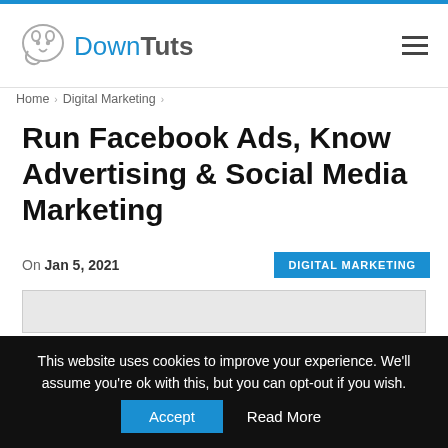DownTuts
Home › Digital Marketing ›
Run Facebook Ads, Know Advertising & Social Media Marketing
On Jan 5, 2021   DIGITAL MARKETING
[Figure (other): Gray placeholder image area for article thumbnail]
This website uses cookies to improve your experience. We'll assume you're ok with this, but you can opt-out if you wish.  Accept  Read More